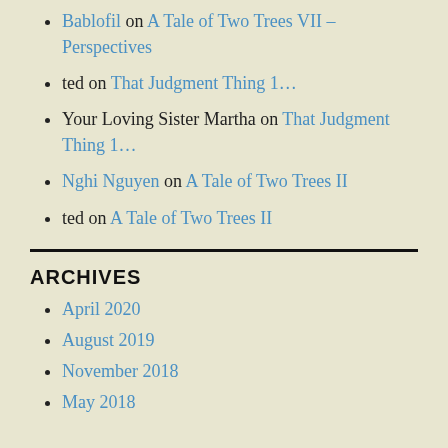Bablofil on A Tale of Two Trees VII – Perspectives
ted on That Judgment Thing 1…
Your Loving Sister Martha on That Judgment Thing 1…
Nghi Nguyen on A Tale of Two Trees II
ted on A Tale of Two Trees II
ARCHIVES
April 2020
August 2019
November 2018
May 2018